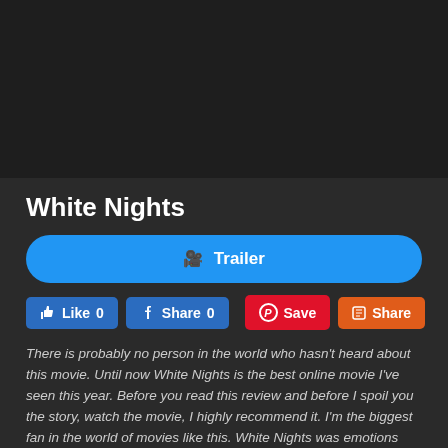[Figure (other): Dark video/image placeholder area at the top of the page]
White Nights
[Figure (other): Trailer button - blue rounded rectangle with camera icon and text 'Trailer']
[Figure (other): Social media buttons row: Like 0, Share 0 (Facebook), Save (Pinterest), Share (orange)]
There is probably no person in the world who hasn't heard about this movie. Until now White Nights is the best online movie I've seen this year. Before you read this review and before I spoil you the story, watch the movie, I highly recommend it. I'm the biggest fan in the world of movies like this. White Nights was emotions explosion for me. There are films that you are considering mainly about how to evaluate them. They aim between 6 and 8 and after a longer thinking, in fact, you see that you were having fun and in total, had some good aspects, so the 'six' is not satisfying, but he